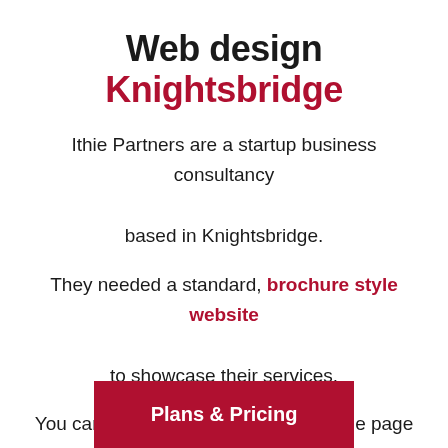Web design Knightsbridge
Ithie Partners are a startup business consultancy based in Knightsbridge.

They needed a standard, brochure style website to showcase their services.

You can view a screenshot of the home page below.
Plans & Pricing